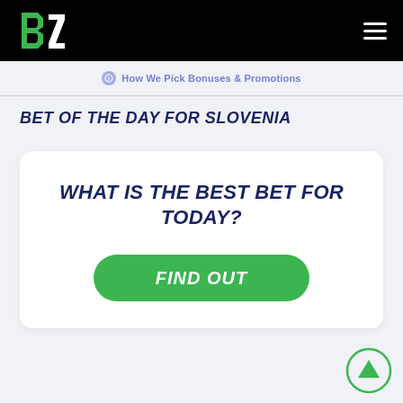BZ logo and hamburger menu
How We Pick Bonuses & Promotions
BET OF THE DAY FOR SLOVENIA
WHAT IS THE BEST BET FOR TODAY?
FIND OUT